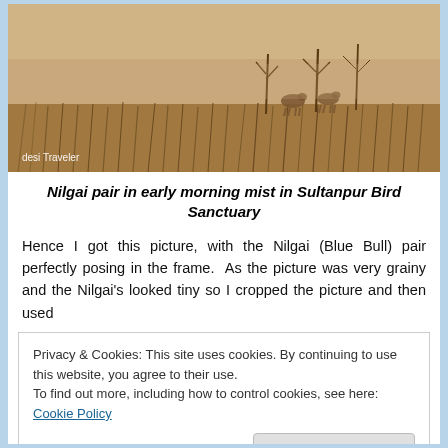[Figure (photo): Sepia-toned photograph of a Nilgai (Blue Bull) pair in a misty grassland with sparse trees at Sultanpur Bird Sanctuary. Watermark text 'desi Traveler' in bottom left.]
Nilgai pair in early morning mist in Sultanpur Bird Sanctuary
Hence I got this picture, with the Nilgai (Blue Bull) pair perfectly posing in the frame.  As the picture was very grainy and the Nilgai's looked tiny so I cropped the picture and then used
Privacy & Cookies: This site uses cookies. By continuing to use this website, you agree to their use.
To find out more, including how to control cookies, see here: Cookie Policy
Close and accept
Considering factors I would like to add here in the Nilgai is